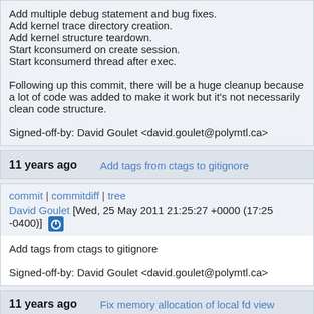Add multiple debug statement and bug fixes.
Add kernel trace directory creation.
Add kernel structure teardown.
Start kconsumerd on create session.
Start kconsumerd thread after exec.

Following up this commit, there will be a huge cleanup because a lot of code was added to make it work but it's not necessarily clean code structure.

Signed-off-by: David Goulet <david.goulet@polymtl.ca>
11 years ago   Add tags from ctags to gitignore
commit | commitdiff | tree
David Goulet [Wed, 25 May 2011 21:25:27 +0000 (17:25 -0400)]
Add tags from ctags to gitignore

Signed-off-by: David Goulet <david.goulet@polymtl.ca>
11 years ago   Fix memory allocation of local fd view
commit | commitdiff | tree